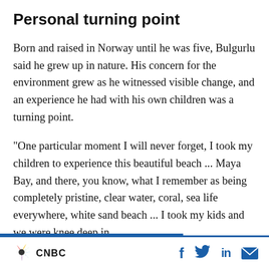Personal turning point
Born and raised in Norway until he was five, Bulgurlu said he grew up in nature. His concern for the environment grew as he witnessed visible change, and an experience he had with his own children was a turning point.
“One particular moment I will never forget, I took my children to experience this beautiful beach ... Maya Bay, and there, you know, what I remember as being completely pristine, clear water, coral, sea life everywhere, white sand beach ... I took my kids and we were knee deep in
CNBC